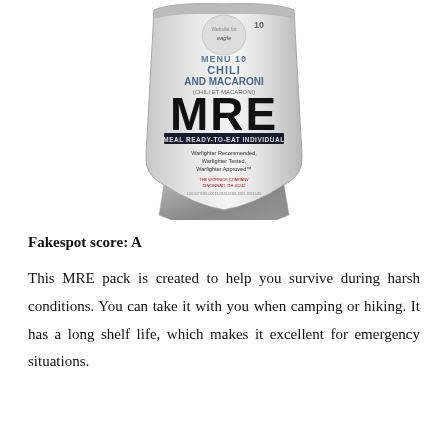[Figure (photo): A silver/white MRE (Meal Ready-to-Eat) pouch for Menu 10 Chili and Macaroni. The package prominently shows 'MENU 10 CHILI AND MACARONI (CHILI ET MACARONI)' and large bold text 'MRE MEAL READY-TO-EAT INDIVIDUAL'. Text reads 'Warfighter Recommended, Warfighter Tested, Warfighter Approved'. Manufacturer listed as The Wornick Company, Cincinnati, OH 45242.]
Fakespot score: A
This MRE pack is created to help you survive during harsh conditions. You can take it with you when camping or hiking. It has a long shelf life, which makes it excellent for emergency situations.